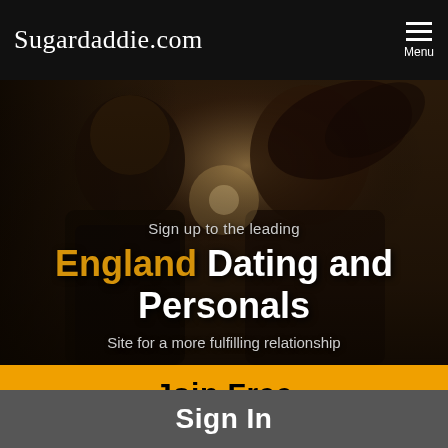Sugardaddie.com
[Figure (photo): Dark, dramatic photo of a man and woman facing each other in a dimly lit scene with warm candlelight]
Sign up to the leading
England Dating and Personals
Site for a more fulfilling relationship
Join Free
Sign In